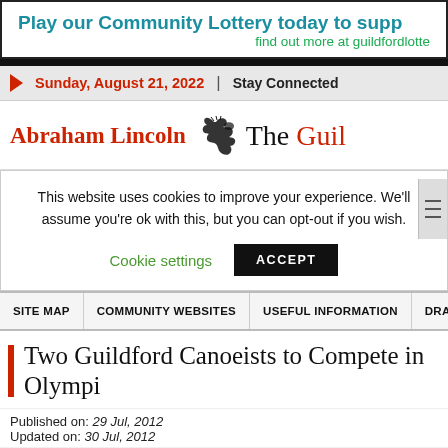Play our Community Lottery today to supp... find out more at guildfordlotte...
Sunday, August 21, 2022 | Stay Connected
Abraham Lincoln  The Guil...
This website uses cookies to improve your experience. We'll assume you're ok with this, but you can opt-out if you wish.
Cookie settings  ACCEPT
SITE MAP  COMMUNITY WEBSITES  USEFUL INFORMATION  DRAGON...
Two Guildford Canoeists to Compete in Olympi...
Published on: 29 Jul, 2012
Updated on: 30 Jul, 2012
[Figure (photo): Partial photo strip at bottom of page, appears to show outdoor scene]